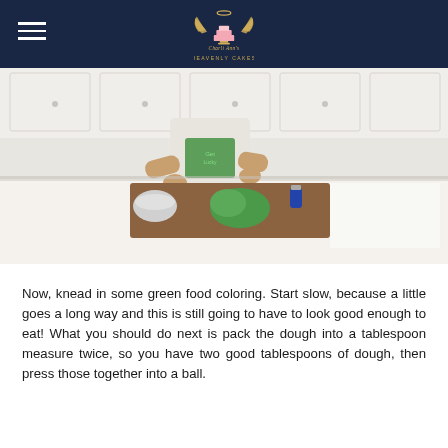Charli Ann's Heavenly Cakes
[Figure (photo): A person in a kitchen working with green fondant/dough on a wooden board on a white countertop, with bowls and kitchen tools visible.]
Now, knead in some green food coloring. Start slow, because a little goes a long way and this is still going to have to look good enough to eat! What you should do next is pack the dough into a tablespoon measure twice, so you have two good tablespoons of dough, then press those together into a ball.